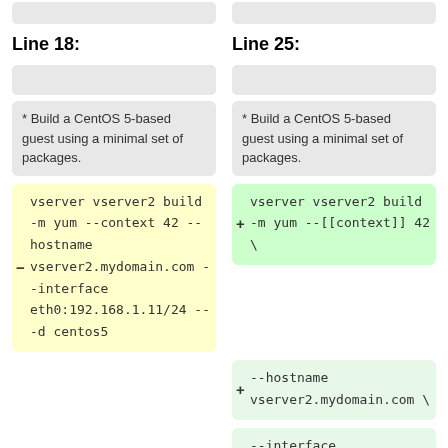Line 18:
Line 25:
* Build a CentOS 5-based guest using a minimal set of packages.
* Build a CentOS 5-based guest using a minimal set of packages.
- vserver vserver2 build -m yum --context 42 --hostname vserver2.mydomain.com --interface eth0:192.168.1.11/24 -- -d centos5
+ vserver vserver2 build -m yum --[[context]] 42 \
+ --hostname vserver2.mydomain.com \
+ --interface eth0:192.168.1.11/2